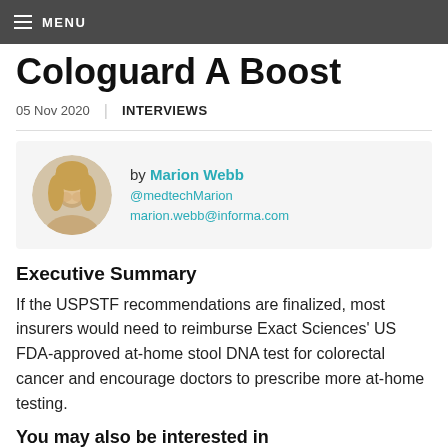MENU
Cologuard A Boost
05 Nov 2020 | INTERVIEWS
by Marion Webb
@medtechMarion
marion.webb@informa.com
Executive Summary
If the USPSTF recommendations are finalized, most insurers would need to reimburse Exact Sciences' US FDA-approved at-home stool DNA test for colorectal cancer and encourage doctors to prescribe more at-home testing.
You may also be interested in